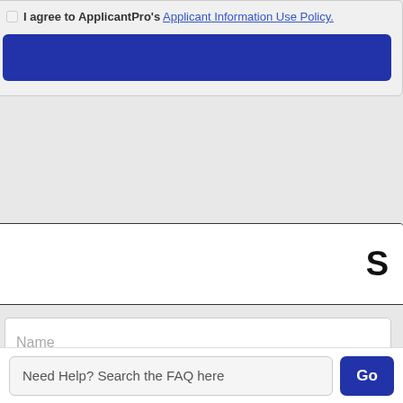I agree to ApplicantPro's Applicant Information Use Policy.
[Figure (screenshot): Dark blue submit/action button bar]
S
Name (placeholder text in form field)
Email (placeholder text in form field)
Ashburn, VA US
Need Help? Search the FAQ here
Go